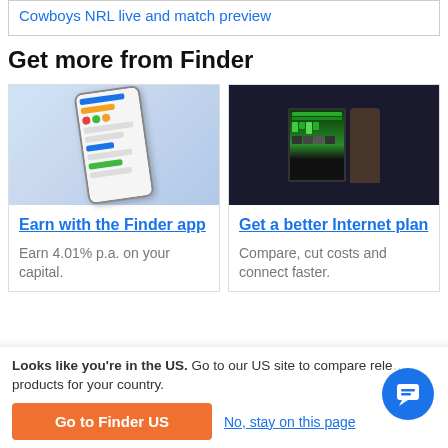Cowboys NRL live and match preview
Get more from Finder
[Figure (photo): Smartphone showing a financial/investment app interface with colorful bar charts]
Earn with the Finder app
Earn 4.01% p.a. on your capital.
[Figure (photo): Person with glasses looking at multiple computer monitors displaying data and charts]
Get a better Internet plan
Compare, cut costs and connect faster.
Looks like you're in the US. Go to our US site to compare relevant products for your country.
Go to Finder US
No, stay on this page